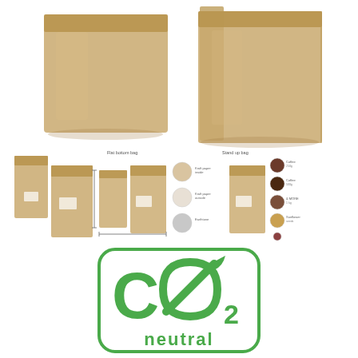[Figure (photo): Two large kraft paper bags (brown/tan color) photographed against a white background. Left bag is a flat-bottom pouch style, right bag is a larger standup/gusseted bag.]
[Figure (photo): Row of smaller kraft paper bags in various sizes with dimension annotations and material sample swatches showing different powder textures and colors (white, brown, dark) with small labels.]
[Figure (logo): CO2 neutral certification logo: a green rounded rectangle border containing a large stylized 'CO2' where the O is replaced by a leaf shape, with subscript 2, and the word 'neutral' below in green. Indicates carbon neutral certification.]